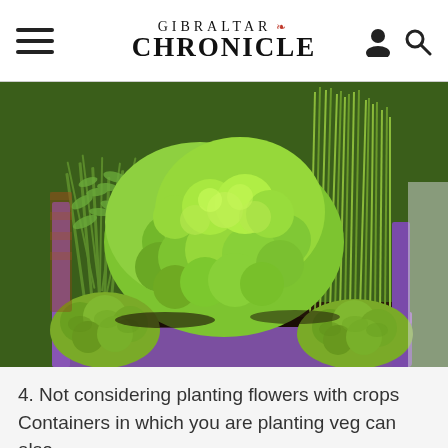GIBRALTAR CHRONICLE
[Figure (photo): A purple container/planter box filled with various green herbs including curly parsley in the center, rosemary on the left, and chives or grass-like herbs in the upper right.]
4. Not considering planting flowers with crops
Containers in which you are planting veg can also